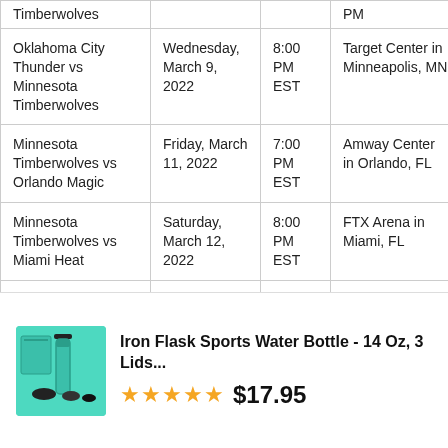| Game | Date | Time | Location | TV |
| --- | --- | --- | --- | --- |
| Oklahoma City Thunder vs Minnesota Timberwolves | Wednesday, March 9, 2022 | 8:00 PM EST | Target Center in Minneapolis, MN | Bally Sports OK; Bally Sports Oklahoma |
| Minnesota Timberwolves vs Orlando Magic | Friday, March 11, 2022 | 7:00 PM EST | Amway Center in Orlando, FL | NBA TV |
| Minnesota Timberwolves vs Miami Heat | Saturday, March 12, 2022 | 8:00 PM EST | FTX Arena in Miami, FL | Bally Sports Sun; Bally Sports No |
| Minnesota Timberwolves vs San | Monday, March 14, | 8:30 PM | AT&T Center in San | Bally Sports Southwest; Bally Spo... |
[Figure (photo): Iron Flask sports water bottle product image - teal/mint colored bottle with accessories]
Iron Flask Sports Water Bottle - 14 Oz, 3 Lids...
★★★★★ $17.95
| Minnesota | March 10, 2022 | PM EST | Minneapolis, | Spectrum |